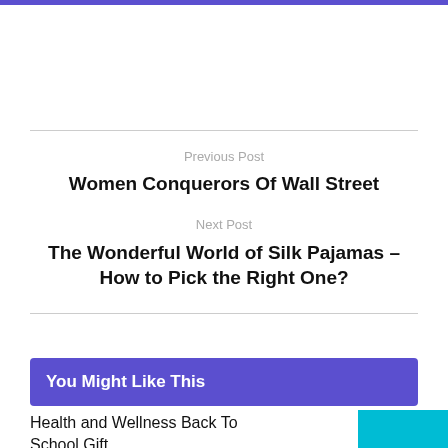Previous Post
Women Conquerors Of Wall Street
Next Post
The Wonderful World of Silk Pajamas – How to Pick the Right One?
You Might Like This
Health and Wellness Back To School Gift